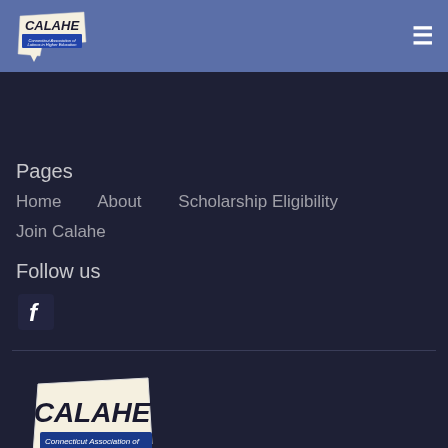[Figure (logo): CALAHE logo - Connecticut Association of Latinos in Higher Education, small version in header]
≡
Pages
Home
About
Scholarship Eligibility
Join Calahe
Follow us
[Figure (logo): Facebook icon - white 'f' on dark rounded square]
[Figure (logo): CALAHE logo - Connecticut Association of Latinos in Higher Education, large version in footer]